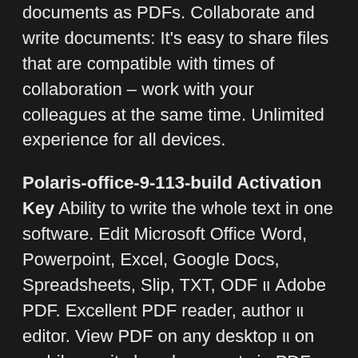documents as PDFs. Collaborate and write documents: It's easy to share files that are compatible with times of collaboration – work with your colleagues at the same time. Unlimited experience for all devices.
Polaris-office-9-113-build Activation Key Ability to write the whole text in one software. Edit Microsoft Office Word, Powerpoint, Excel, Google Docs, Spreadsheets, Slip, TXT, ODF ιι Adobe PDF. Excellent PDF reader, author ιι editor. View PDF on any desktop ιι on mobile ιι write key documents in PDF file. Documentation ιι Cooperation teamwork. Easy to share files with your co-authors in real-time. Unlimited experience for all devices. Work on all cars anytime, anywhere.
Polaris-office-9-113-build Polaris office 4.0 download - Crack Key For U Free Download Get started for free.